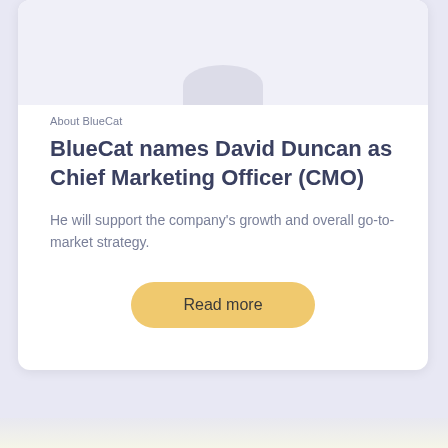[Figure (photo): Partial view of a person's avatar/profile image, showing only the lower curved portion against a light lavender-gray background]
About BlueCat
BlueCat names David Duncan as Chief Marketing Officer (CMO)
He will support the company’s growth and overall go-to-market strategy.
Read more